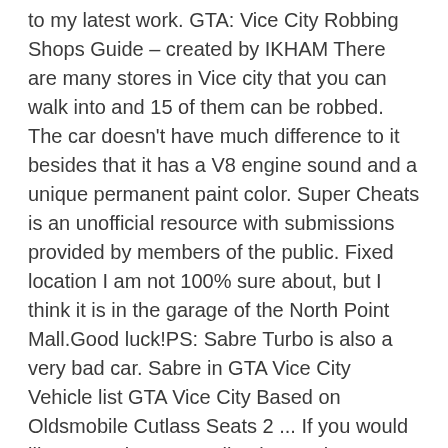to my latest work. GTA: Vice City Robbing Shops Guide – created by IKHAM There are many stores in Vice city that you can walk into and 15 of them can be robbed. The car doesn't have much difference to it besides that it has a V8 engine sound and a unique permanent paint color. Super Cheats is an unofficial resource with submissions provided by members of the public. Fixed location I am not 100% sure about, but I think it is in the garage of the North Point Mall.Good luck!PS: Sabre Turbo is also a very bad car. Sabre in GTA Vice City Vehicle list GTA Vice City Based on Oldsmobile Cutlass Seats 2 ... If you would like to receive an email to let you know if/when we have added this question to the site please enter your email address. Found in the parking lot across Zero RC in Garcia, San Fierro. The original model is from GTA Vice City (created by Rockstar) and converted and slightly modified by me. After this mission, the Cholo Sabre can sometimes be found